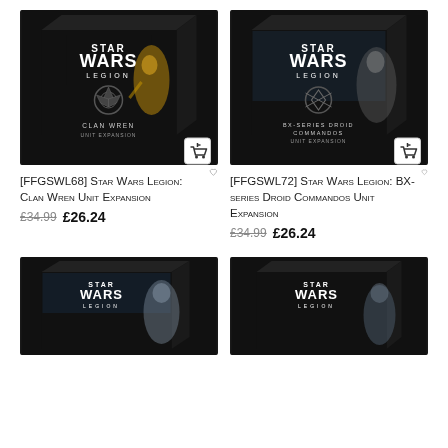[Figure (photo): Star Wars Legion: Clan Wren Unit Expansion product box — black box with Rebel Alliance symbol and golden Battle Droids artwork]
[Figure (photo): Star Wars Legion: BX-series Droid Commandos Unit Expansion product box — black box with Galactic Empire/TIE symbol and droid commando artwork]
[FFGSWL68] Star Wars Legion: Clan Wren Unit Expansion
£34.99 £26.24
[FFGSWL72] Star Wars Legion: BX-series Droid Commandos Unit Expansion
£34.99 £26.24
[Figure (photo): Star Wars Legion product box (bottom left) — black box with Star Wars Legion logo and clone trooper artwork]
[Figure (photo): Star Wars Legion product box (bottom right) — black box with Star Wars Legion logo and Mandalorian warrior artwork]